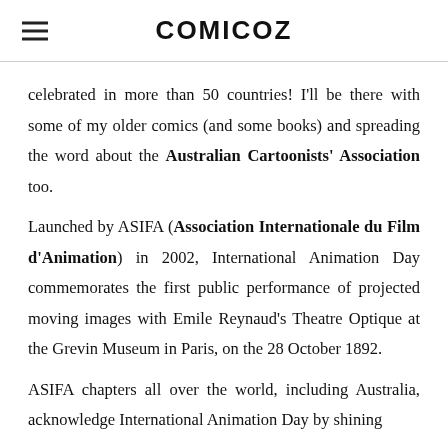COMICOZ
celebrated in more than 50 countries! I'll be there with some of my older comics (and some books) and spreading the word about the Australian Cartoonists' Association too.
Launched by ASIFA (Association Internationale du Film d'Animation) in 2002, International Animation Day commemorates the first public performance of projected moving images with Emile Reynaud's Theatre Optique at the Grevin Museum in Paris, on the 28 October 1892.
ASIFA chapters all over the world, including Australia, acknowledge International Animation Day by shining